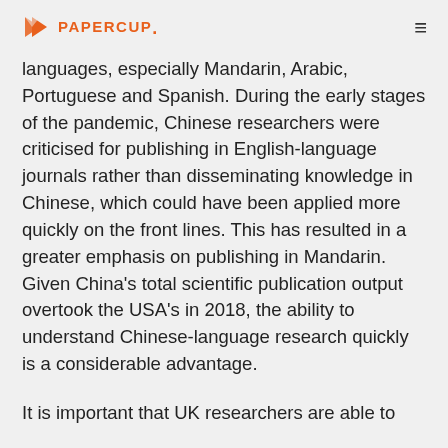PAPERCUP.
languages, especially Mandarin, Arabic, Portuguese and Spanish. During the early stages of the pandemic, Chinese researchers were criticised for publishing in English-language journals rather than disseminating knowledge in Chinese, which could have been applied more quickly on the front lines. This has resulted in a greater emphasis on publishing in Mandarin. Given China's total scientific publication output overtook the USA's in 2018, the ability to understand Chinese-language research quickly is a considerable advantage.
It is important that UK researchers are able to